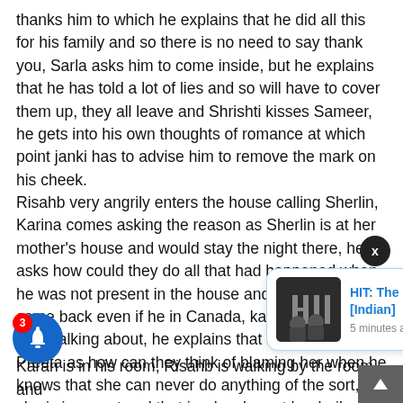thanks him to which he explains that he did all this for his family and so there is no need to say thank you, Sarla asks him to come inside, but he explains that he has told a lot of lies and so will have to cover them up, they all leave and Shrishti kisses Sameer, he gets into his own thoughts of romance at which point janki has to advise him to remove the mark on his cheek. Risahb very angrily enters the house calling Sherlin, Karina comes asking the reason as Sherlin is at her mother's house and would stay the night there, he asks how could they do all that had happened when he was not present in the house and would have come back even if he in Canada, karina asks what he is talking about, he explains that he is talking of Preeta as how can they think of blaming her when he knows that she can never do anything of the sort, she is innocent and that is why she got her bail, she is at her house and lawyer, Karina the receip
[Figure (screenshot): Notification popup for 'HIT: The First Case (2022) [Indian]' with movie thumbnail, posted 5 minutes ago, with an X close button]
[Figure (screenshot): Blue bell notification button with red badge showing number 3, and a dark up-arrow button in bottom right corner]
Karan is in his room, Risahb is walking by the room and